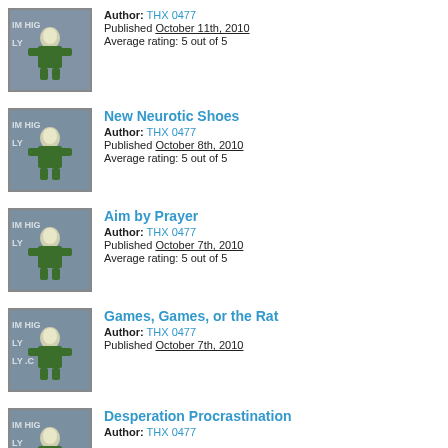[Figure (photo): Thumbnail image of green robot/figure character against blue-grey background with text 'IM HIG LY']
Author: THX 0477
Published October 11th, 2010
Average rating: 5 out of 5
New Neurotic Shoes
[Figure (photo): Thumbnail image of green robot/figure character against blue-grey background with text 'IM HIG LY']
Author: THX 0477
Published October 8th, 2010
Average rating: 5 out of 5
Aim by Prayer
[Figure (photo): Thumbnail image of green robot/figure character against blue-grey background with text 'IM HIG LY']
Author: THX 0477
Published October 7th, 2010
Average rating: 5 out of 5
Games, Games, or the Rat
[Figure (photo): Thumbnail image of green robot/figure character against blue-grey background with text 'IM HIG LY']
Author: THX 0477
Published October 7th, 2010
Desperation Procrastination
[Figure (photo): Thumbnail image of green robot/figure character against blue-grey background with text 'IM HIG LY']
Author: THX 0477